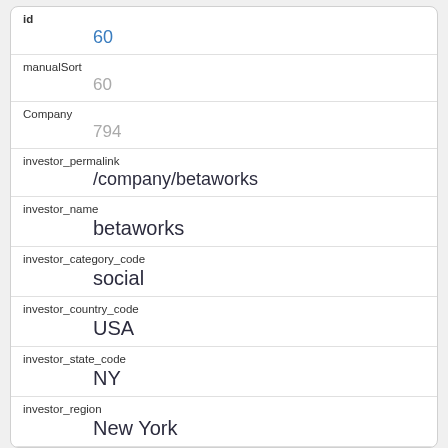| Field | Value |
| --- | --- |
| id | 60 |
| manualSort | 60 |
| Company | 794 |
| investor_permalink | /company/betaworks |
| investor_name | betaworks |
| investor_category_code | social |
| investor_country_code | USA |
| investor_state_code | NY |
| investor_region | New York |
| investor_city | New York |